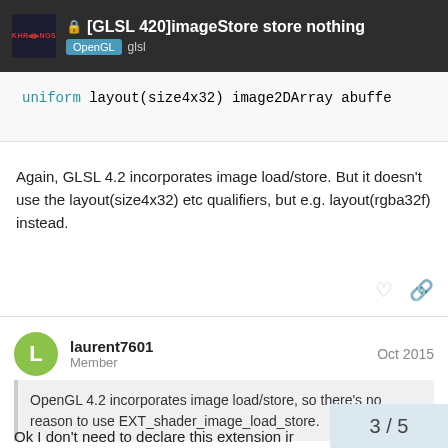[GLSL 420]imageStore store nothing — OpenGL  glsl
uniform layout(size4x32) image2DArray abuffe
Again, GLSL 4.2 incorporates image load/store. But it doesn't use the layout(size4x32) etc qualifiers, but e.g. layout(rgba32f) instead.
laurent7601
Member
Oct 2015
OpenGL 4.2 incorporates image load/store, so there's no reason to use EXT_shader_image_load_store.
Ok I don't need to declare this extension ir
3 / 5